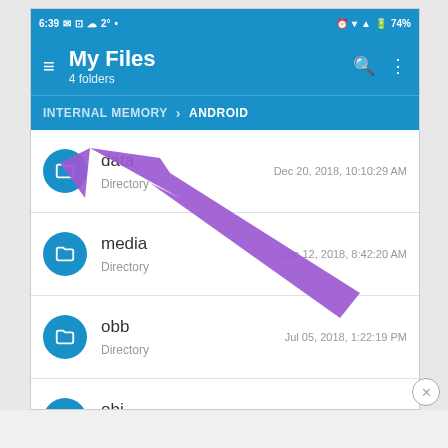[Figure (screenshot): Android 'My Files' app screenshot showing the ANDROID directory with 4 folders: data, media, obb, obj. A purple arrow annotation points from the lower-right toward the 'data' folder item. Status bar shows 6:39 time and 74% battery. A purple arrow overlay points to the data folder.]